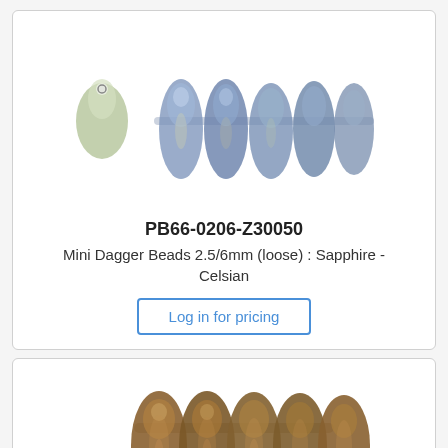[Figure (photo): Mini dagger beads in sapphire-celsian color: a single teardrop bead on the left and five dagger beads threaded together showing their flat profile, in blue and grey iridescent glass]
PB66-0206-Z30050
Mini Dagger Beads 2.5/6mm (loose) : Sapphire - Celsian
Log in for pricing
[Figure (photo): Mini dagger beads in bronze/copper metallic color: five dagger beads threaded together showing their rounded tops and metallic finish]